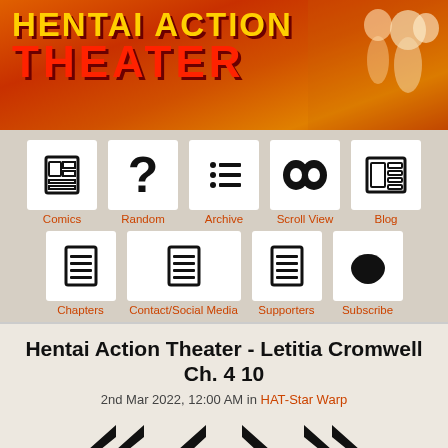[Figure (illustration): Hentai Action Theater website banner with orange/red gradient background, stylized text logo and anime character illustrations]
[Figure (infographic): Navigation menu grid with icon buttons: Comics, Random, Archive, Scroll View, Blog (top row); Chapters, Contact/Social Media, Supporters, Subscribe (bottom row). Each button has an icon in a white box and an orange label below.]
Hentai Action Theater - Letitia Cromwell Ch. 4 10
2nd Mar 2022, 12:00 AM in HAT-Star Warp
[Figure (infographic): Navigation arrows: double-left (first), single-left (previous), single-right (next), double-right (last)]